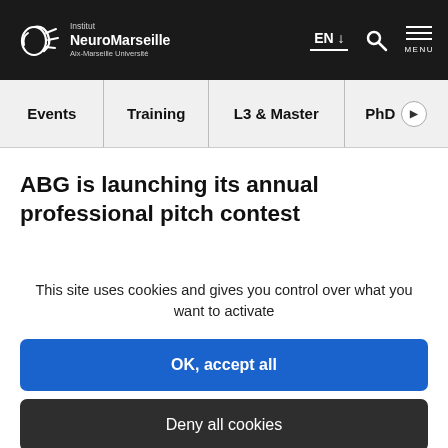[Figure (logo): Institut NeuroMarseille, Aix-Marseille Université logo with brain icon on dark header]
EN ↓   🔍   MENU
Events | Training | L3 & Master | PhD ▶
ABG is launching its annual professional pitch contest
This site uses cookies and gives you control over what you want to activate
OK, accept all
Deny all cookies
Personalize